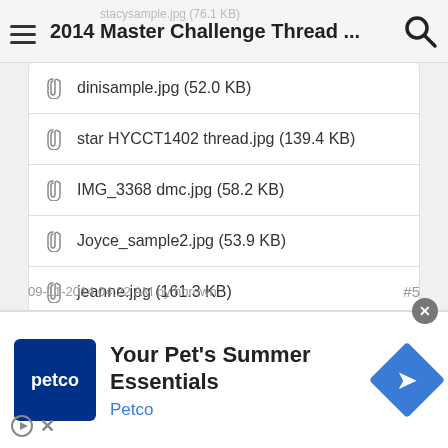2014 Master Challenge Thread ...
dinisample.jpg (52.0 KB)
star HYCCT1402 thread.jpg (139.4 KB)
IMG_3368 dmc.jpg (58.2 KB)
Joyce_sample2.jpg (53.9 KB)
jeanne.jpg (161.3 KB)
09-11-2014 04:22 AM by hbrown
#5
[Figure (screenshot): Petco advertisement banner: Your Pet's Summer Essentials, Petco brand]